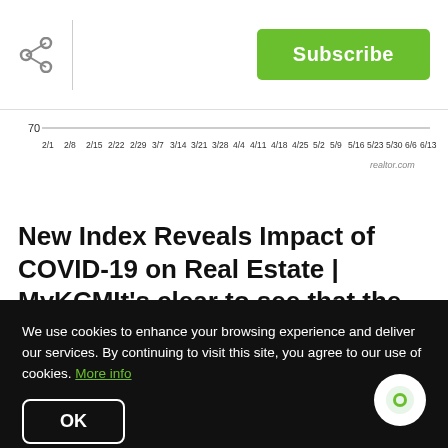[Figure (other): Share icon (three connected circles) on top-left, vertical divider, and green Subscribe button on top-right]
[Figure (continuous-plot): Partial line chart showing dates from 2/1 through 6/13 on x-axis, with y-axis value 70 visible, sourced from realtor.com]
New Index Reveals Impact of COVID-19 on Real Estate | MyKCMIt’s clear to see that the housing market is showing promising signs of recovery from the deep economic cuts we experienced earlier this
We use cookies to enhance your browsing experience and deliver our services. By continuing to visit this site, you agree to our use of cookies. More info
OK